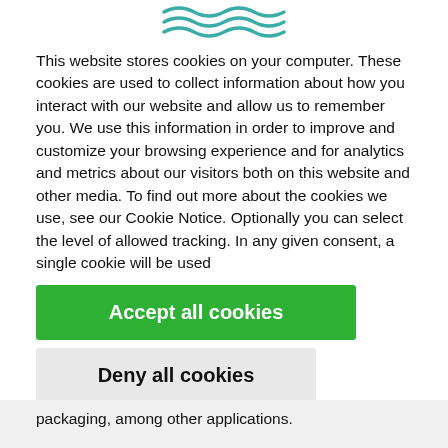[Figure (logo): Wavy teal decorative logo lines at top center]
This website stores cookies on your computer. These cookies are used to collect information about how you interact with our website and allow us to remember you. We use this information in order to improve and customize your browsing experience and for analytics and metrics about our visitors both on this website and other media. To find out more about the cookies we use, see our Cookie Notice. Optionally you can select the level of allowed tracking. In any given consent, a single cookie will be used
Accept all cookies
Deny all cookies
Cookie settings
packaging, among other applications.